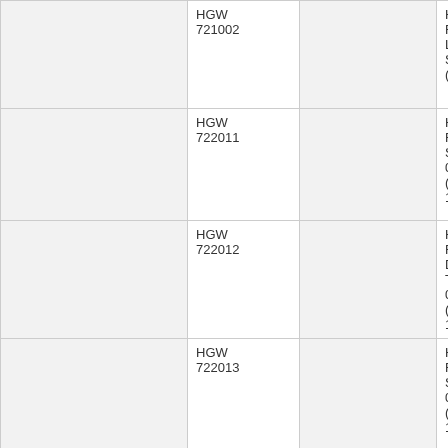| [image] | Code | [image] | Description |
| --- | --- | --- | --- |
|  | HGW 721002 |  | HGW721002 Rivets - Free Lines SILVER (894) 1/72 |
|  | HGW 722011 |  | HGW722011 Rivets - Single line 0.60x0.15 (Raised) 1/72 |
|  | HGW 722012 |  | HGW722012 Rivets - Double & Triple lines 0.60x0.15 (Raised) 1/72 |
|  | HGW 722013 |  | HGW722013 Rivets - Single line 0.80x0.15 (Raised) 1/72 |
|  |  |  | MN996 3D |